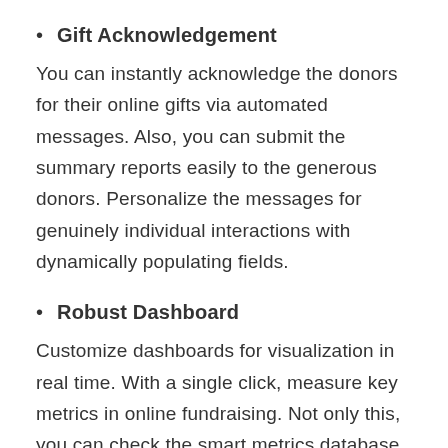Gift Acknowledgement
You can instantly acknowledge the donors for their online gifts via automated messages. Also, you can submit the summary reports easily to the generous donors. Personalize the messages for genuinely individual interactions with dynamically populating fields.
Robust Dashboard
Customize dashboards for visualization in real time. With a single click, measure key metrics in online fundraising. Not only this, you can check the smart metrics database and track the